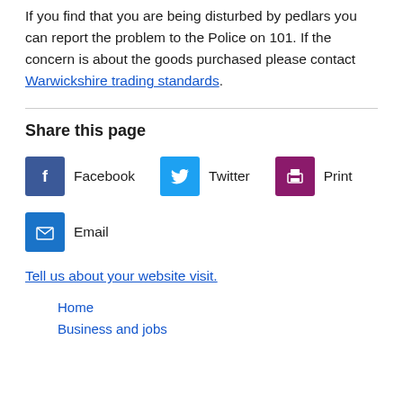If you find that you are being disturbed by pedlars you can report the problem to the Police on 101. If the concern is about the goods purchased please contact Warwickshire trading standards.
Share this page
[Figure (infographic): Social sharing buttons: Facebook, Twitter, Print, Email icons with labels]
Tell us about your website visit.
Home
Business and jobs